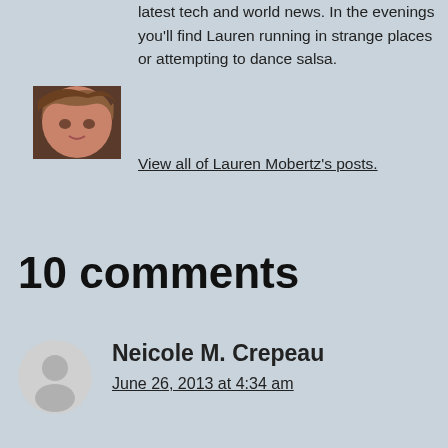latest tech and world news. In the evenings you'll find Lauren running in strange places or attempting to dance salsa.
View all of Lauren Mobertz's posts.
[Figure (photo): Profile photo of Lauren Mobertz, a woman with reddish-brown hair]
10 comments
[Figure (illustration): Generic grey avatar silhouette for commenter Neicole M. Crepeau]
Neicole M. Crepeau
June 26, 2013 at 4:34 am